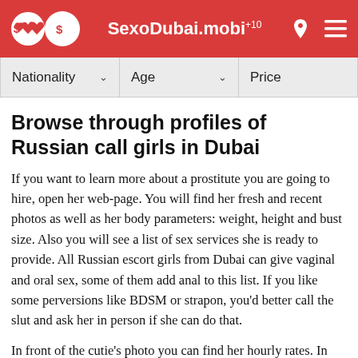SexoDubai.mobi +10
Browse through profiles of Russian call girls in Dubai
If you want to learn more about a prostitute you are going to hire, open her web-page. You will find her fresh and recent photos as well as her body parameters: weight, height and bust size. Also you will see a list of sex services she is ready to provide. All Russian escort girls from Dubai can give vaginal and oral sex, some of them add anal to this list. If you like some perversions like BDSM or strapon, you'd better call the slut and ask her in person if she can do that.
In front of the cutie's photo you can find her hourly rates. In Dubai Russian escort girls are sometimes ready to join you for a whole weekend and go on a see walk on a yacht or have fun in a nightclub together with you. No matter what you feel like doing,